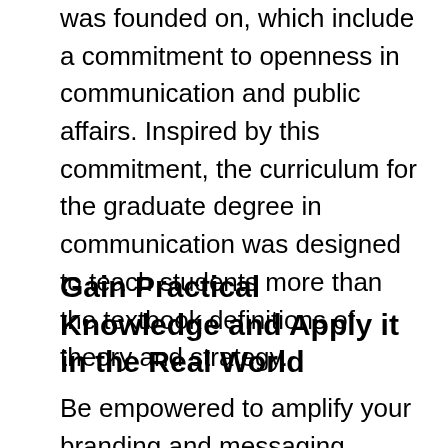was founded on, which include a commitment to openness in communication and public affairs. Inspired by this commitment, the curriculum for the graduate degree in communication was designed to teach students more than the textbook definitions of theory and strategy.
Gain Practical Knowledge and Apply it in the Real World
Be empowered to amplify your branding and messaging strategies across international, national, and local platforms